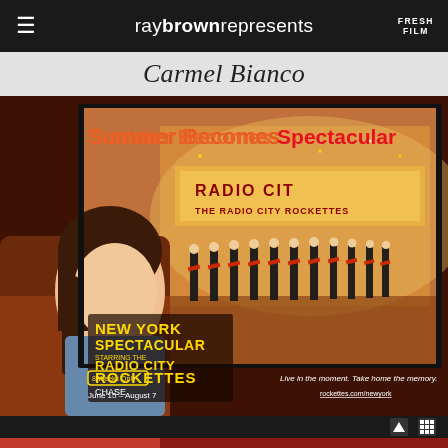raybrownrepresents  FRESH FILM
Carmel Bianco
[Figure (photo): Advertisement for New York Spectacular Starring the Radio City Rockettes. Shows a young girl looking through a car window at the Radio City Music Hall with Rockettes performing. Text reads: Summer Becomes Spectacular. NEW YORK SPECTACULAR STARRING RADIO CITY ROCKETTES. CHASE. 8 Weeks Only. June 15 – August 7. Live in the moment. Take home the memory. rockettes.com/newyork]